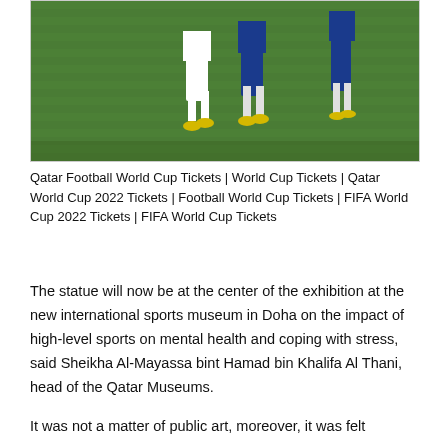[Figure (photo): Soccer/football players on a green grass field during a match, visible from the waist down, wearing white and blue uniforms with yellow boots.]
Qatar Football World Cup Tickets | World Cup Tickets | Qatar World Cup 2022 Tickets | Football World Cup Tickets | FIFA World Cup 2022 Tickets | FIFA World Cup Tickets
The statue will now be at the center of the exhibition at the new international sports museum in Doha on the impact of high-level sports on mental health and coping with stress, said Sheikha Al-Mayassa bint Hamad bin Khalifa Al Thani, head of the Qatar Museums.
It was not a matter of public art, moreover, it was felt